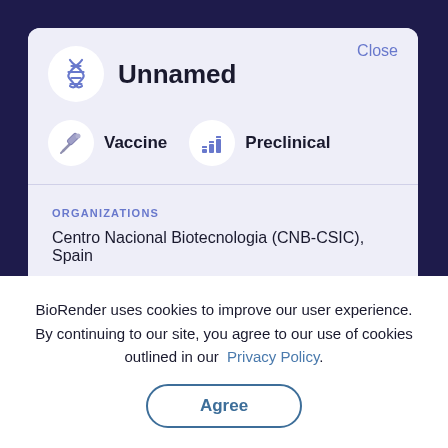Unnamed
Vaccine
Preclinical
ORGANIZATIONS
Centro Nacional Biotecnologia (CNB-CSIC), Spain
COUNTRIES INVOLVED
BioRender uses cookies to improve our user experience. By continuing to our site, you agree to our use of cookies outlined in our Privacy Policy.
Agree